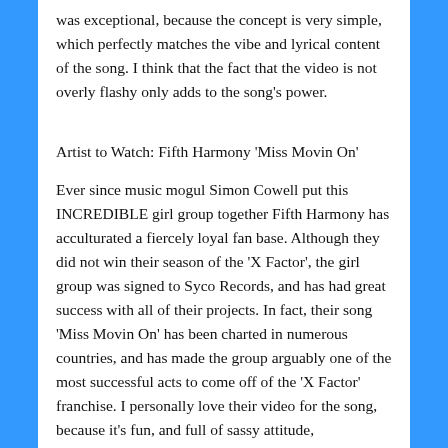was exceptional, because the concept is very simple, which perfectly matches the vibe and lyrical content of the song. I think that the fact that the video is not overly flashy only adds to the song's power.
Artist to Watch: Fifth Harmony 'Miss Movin On'
Ever since music mogul Simon Cowell put this INCREDIBLE girl group together Fifth Harmony has acculturated a fiercely loyal fan base. Although they did not win their season of the 'X Factor', the girl group was signed to Syco Records, and has had great success with all of their projects. In fact, their song 'Miss Movin On' has been charted in numerous countries, and has made the group arguably one of the most successful acts to come off of the 'X Factor' franchise. I personally love their video for the song, because it's fun, and full of sassy attitude,